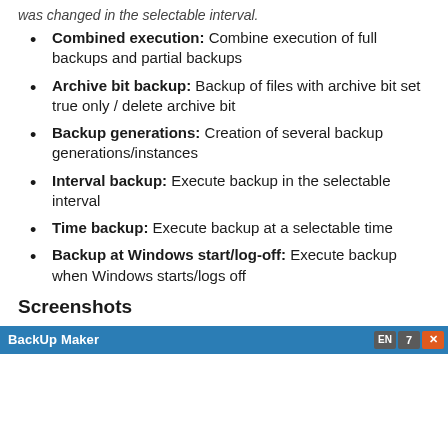Combined execution: Combine execution of full backups and partial backups
Archive bit backup: Backup of files with archive bit set true only / delete archive bit
Backup generations: Creation of several backup generations/instances
Interval backup: Execute backup in the selectable interval
Time backup: Execute backup at a selectable time
Backup at Windows start/log-off: Execute backup when Windows starts/logs off
Screenshots
[Figure (screenshot): BackUp Maker application window title bar with blue header and controls showing EN, 7, and X buttons]